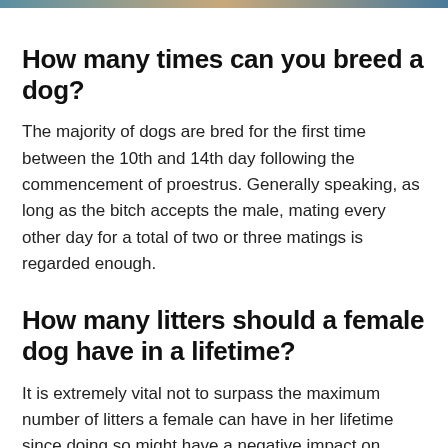[Figure (photo): Partial color image bar at the top of the page, appears to be a cropped photo with blue, tan, and brown tones.]
How many times can you breed a dog?
The majority of dogs are bred for the first time between the 10th and 14th day following the commencement of proestrus. Generally speaking, as long as the bitch accepts the male, mating every other day for a total of two or three matings is regarded enough.
How many litters should a female dog have in a lifetime?
It is extremely vital not to surpass the maximum number of litters a female can have in her lifetime since doing so might have a negative impact on